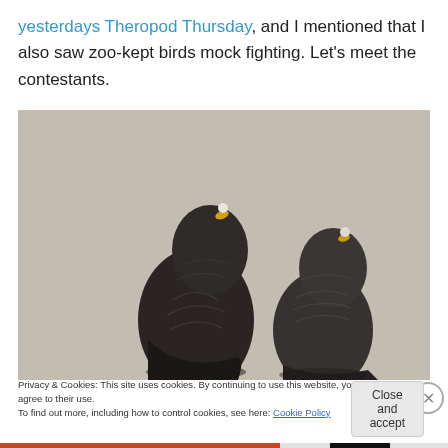yesterdays Theropod Thursday, and I mentioned that I also saw zoo-kept birds mock fighting. Let's meet the contestants.
[Figure (photo): Two dark-feathered birds (pigeons or similar) photographed from behind, both looking upward with yellow-tipped beaks, against a light concrete wall background.]
Privacy & Cookies: This site uses cookies. By continuing to use this website, you agree to their use.
To find out more, including how to control cookies, see here: Cookie Policy